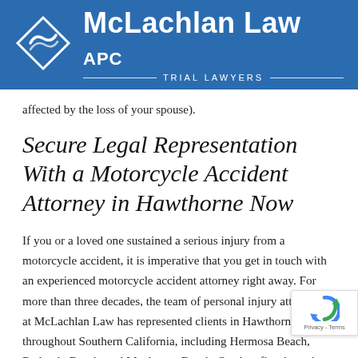[Figure (logo): McLachlan Law APC Trial Lawyers logo with diamond wave icon on blue background header bar]
affected by the loss of your spouse).
Secure Legal Representation With a Motorcycle Accident Attorney in Hawthorne Now
If you or a loved one sustained a serious injury from a motorcycle accident, it is imperative that you get in touch with an experienced motorcycle accident attorney right away. For more than three decades, the team of personal injury attorneys at McLachlan Law has represented clients in Hawthorne and throughout Southern California, including Hermosa Beach, Redondo Beach, and Manhattan Beach. Our law firm has a long track record of success on personal injury claims for injured motorcycle riders and we